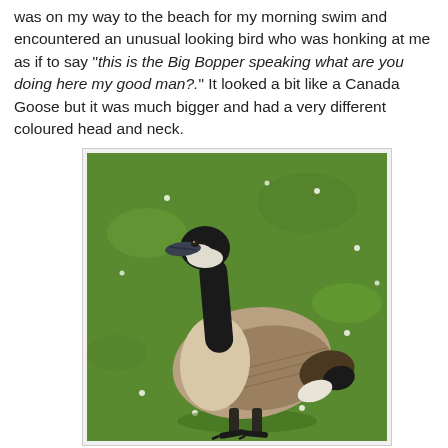was on my way to the beach for my morning swim and encountered an unusual looking bird who was honking at me as if to say "this is the Big Bopper speaking what are you doing here my good man?." It looked a bit like a Canada Goose but it was much bigger and had a very different coloured head and neck.
[Figure (photo): A Canada Goose standing on green grass with small white flowers scattered around. The bird has a black head and neck with a white chin patch, a pale cream/beige breast, and brown/grey back and wings. It is photographed in profile facing left.]